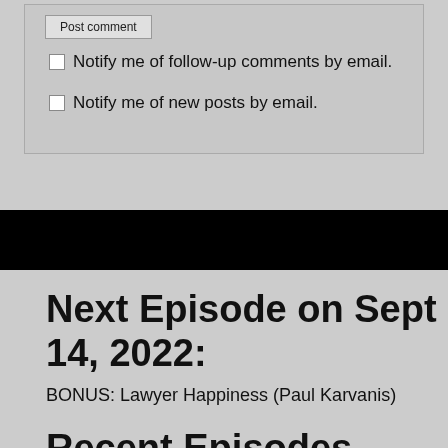Notify me of follow-up comments by email.
Notify me of new posts by email.
Next Episode on Sept 14, 2022:
BONUS: Lawyer Happiness (Paul Karvanis)
Recent Episodes